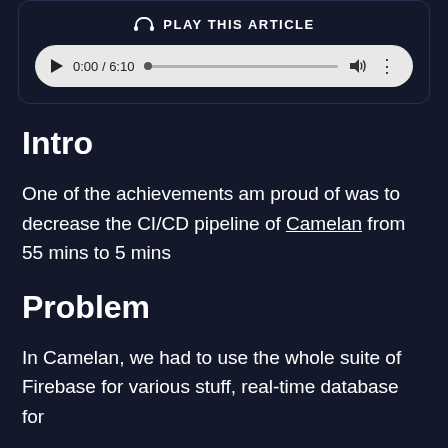[Figure (other): Audio player widget with headphone icon, 'PLAY THIS ARTICLE' label, play button, time display 0:00 / 6:10, progress bar, volume icon, and more options icon]
Intro
One of the achievements am proud of was to decrease the CI/CD pipeline of Camelan from 55 mins to 5 mins
Problem
In Camelan, we had to use the whole suite of Firebase for various stuff, real-time database for